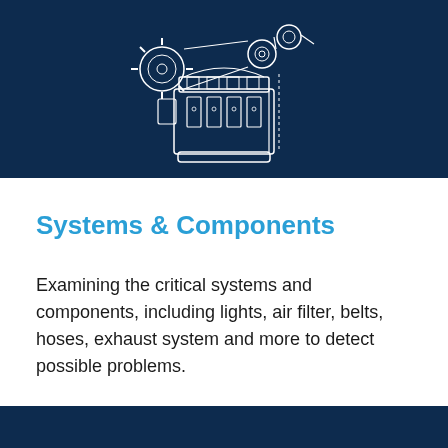[Figure (illustration): Engine schematic line drawing in white on dark navy blue background — an engineering diagram of an engine/motor assembly with gears, pulleys, and mechanical components drawn in white outline style.]
Systems & Components
Examining the critical systems and components, including lights, air filter, belts, hoses, exhaust system and more to detect possible problems.